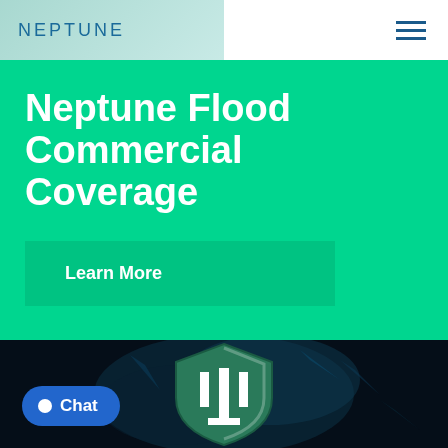NEPTUNE
Neptune Flood Commercial Coverage
Learn More
[Figure (logo): Neptune Flood shield logo with trident symbol on dark background with blue smoke/crystal effects]